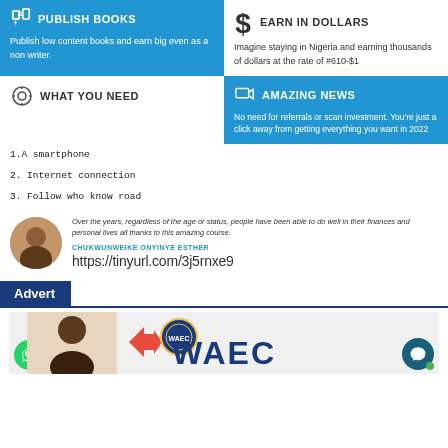PUBLISH BOOKS
Publish low content books and earn big even as a non writer.
EARN IN DOLLARS
Imagine staying in Nigeria and earning thousands of dollars at the rate of #610-$1
WHAT YOU NEED
1.A smartphone
2. Internet connection
3. Follow who know road
AMAZING NEWS
No need for referrals or scan investment. You're just a click away from getting everything you want in 2022
Over the years, regardless of the age or status, people have been able to do well in their finances and personal lives all thanks to this amazing course.
CHUKWUNWEIKE ONYINYE ESTHER
https://tinyurl.com/3j5rnxe9
Advert
[Figure (infographic): WAEC advertisement banner with a woman's photo and WAEC logo]